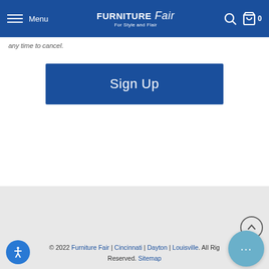Menu | Furniture Fair For Style and Flair
any time to cancel.
Sign Up
Locations
© 2022 Furniture Fair | Cincinnati | Dayton | Louisville. All Rights Reserved. Sitemap